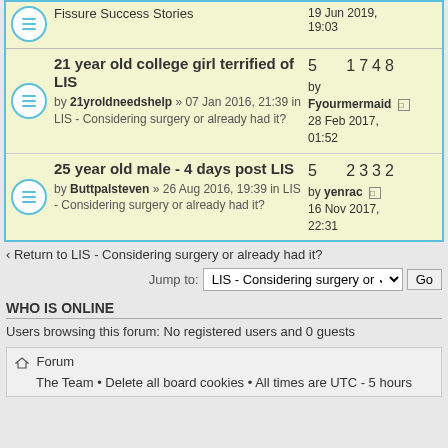Fissure Success Stories — 19 Jun 2019, 19:03
21 year old college girl terrified of LIS — by 21yroldneedshelp » 07 Jan 2016, 21:39 in LIS - Considering surgery or already had it? — 5 replies, 1748 views — by Fyourmermaid — 28 Feb 2017, 01:52
25 year old male - 4 days post LIS — by Buttpalsteven » 26 Aug 2016, 19:39 in LIS - Considering surgery or already had it? — 5 replies, 2332 views — by yenrac — 16 Nov 2017, 22:31
‹ Return to LIS - Considering surgery or already had it?
Jump to: LIS - Considering surgery or ✓ Go
WHO IS ONLINE
Users browsing this forum: No registered users and 0 guests
⌂ Forum
The Team • Delete all board cookies • All times are UTC - 5 hours